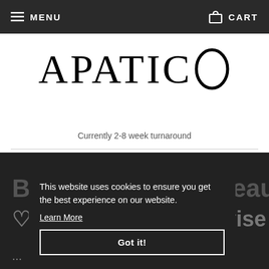MENU   CART
APATICO
Currently 2-8 week turnaround
Bam! Check this beauty out! ♡♡ #Repost @zoelovise 🌸🌸🌸
This website uses cookies to ensure you get the best experience on our website.
Learn More
Got it!